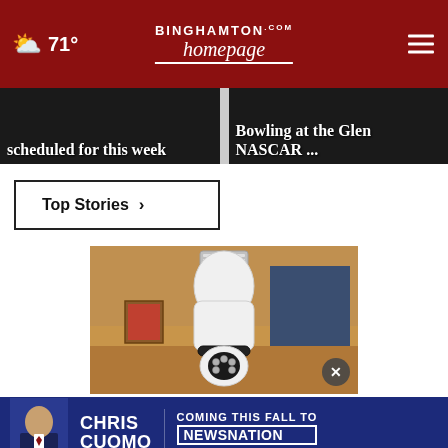71° Binghamton homepage.com
scheduled for this week
Bowling at the Glen NASCAR ...
Top Stories ›
[Figure (photo): A white smart security camera shaped like a light bulb with LED lights and a rotating base, photographed against a warm wooden interior background.]
[Figure (photo): Chris Cuomo advertisement banner: CHRIS CUOMO COMING THIS FALL TO NEWSNATION FIND YOUR CHANNEL]
Ad by Kellmi